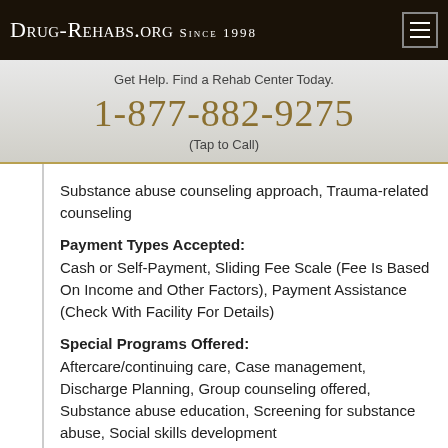Drug-Rehabs.org Since 1998
Get Help. Find a Rehab Center Today.
1-877-882-9275
(Tap to Call)
Substance abuse counseling approach, Trauma-related counseling
Payment Types Accepted:
Cash or Self-Payment, Sliding Fee Scale (Fee Is Based On Income and Other Factors), Payment Assistance (Check With Facility For Details)
Special Programs Offered:
Aftercare/continuing care, Case management, Discharge Planning, Group counseling offered, Substance abuse education, Screening for substance abuse, Social skills development
Age Groups Accepted:
Young Adults, Adults